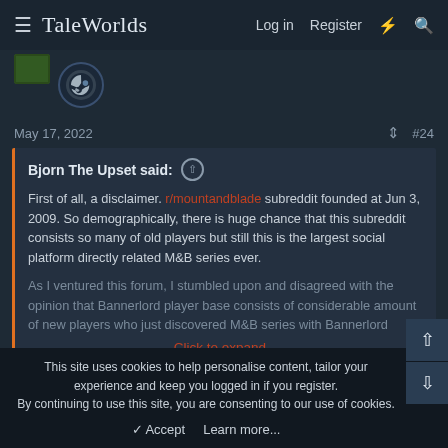TaleWorlds   Log in   Register   ⚡   🔍
[Figure (logo): Steam avatar icon - blue circle with Steam logo]
May 17, 2022   #24
Bjorn The Upset said: ⊕

First of all, a disclaimer. r/mountandblade subreddit founded at Jun 3, 2009. So demographically, there is huge chance that this subreddit consists so many of old players but still this is the largest social platform directly related M&B series ever.

As I ventured this forum, I stumbled upon and disagreed with the opinion that Bannerlord player base consists of considerable amount of new players who just discovered M&B series with Bannerlord

Click to expand...
This site uses cookies to help personalise content, tailor your experience and keep you logged in if you register.
By continuing to use this site, you are consenting to our use of cookies.
✓ Accept   Learn more...